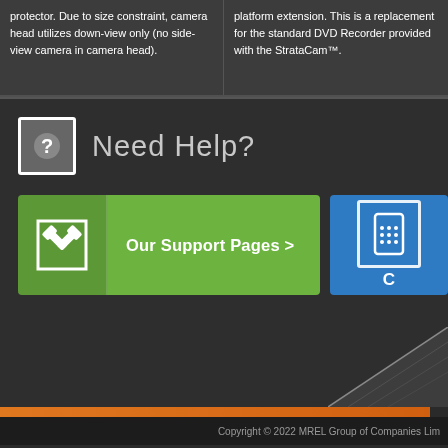protector. Due to size constraint, camera head utilizes down-view only (no side-view camera in camera head).
platform extension. This is a replacement for the standard DVD Recorder provided with the StrataCam™.
Need Help?
[Figure (other): Green button with hammer/tools icon and text 'Our Support Pages >']
[Figure (other): Blue button with mobile phone/contact icon, partially visible]
Copyright © 2022 MREL Group of Companies Lim